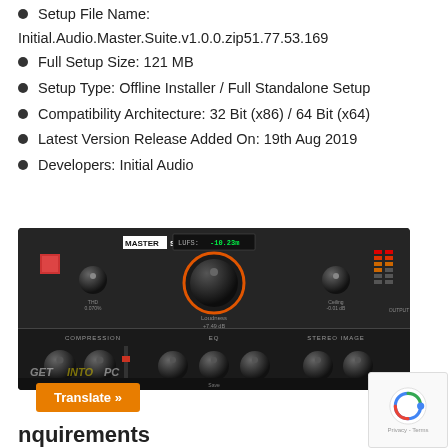Setup File Name:
Initial.Audio.Master.Suite.v1.0.0.zip51.77.53.169
Full Setup Size: 121 MB
Setup Type: Offline Installer / Full Standalone Setup
Compatibility Architecture: 32 Bit (x86) / 64 Bit (x64)
Latest Version Release Added On: 19th Aug 2019
Developers: Initial Audio
[Figure (screenshot): Screenshot of the Initial Audio Master Suite v1.0.0 plugin interface showing a dark audio mastering plugin with knobs for Loudness, Compression, EQ, Stereo Image, THD controls, LUFS display showing -10.23m, VU meters, and GET INTO PC watermark.]
Translate »
requirements